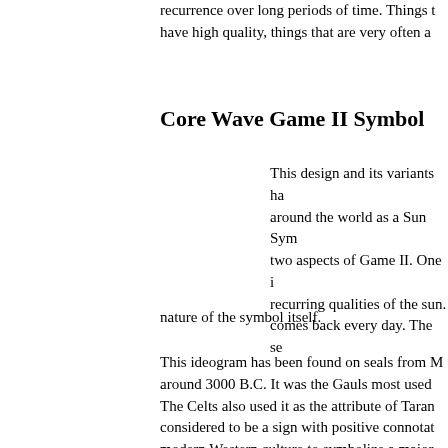recurrence over long periods of time. Things that have high quality, things that are very often a…
Core Wave Game II Symbol
This design and its variants ha… around the world as a Sun Sym… two aspects of Game II. One i… recurring qualities of the sun. comes back every day. The se… nature of the symbol itself.
This ideogram has been found on seals from M… around 3000 B.C. It was the Gauls most used … The Celts also used it as the attribute of Taran… considered to be a sign with positive connotat… modern Western culture to symbolize a major … pizza.
Christian symbolism adopted the form, chang… slightly so that it became a Christ monogram … within a circle.
The circle divided into six pa… circle at its center is the Tibet…